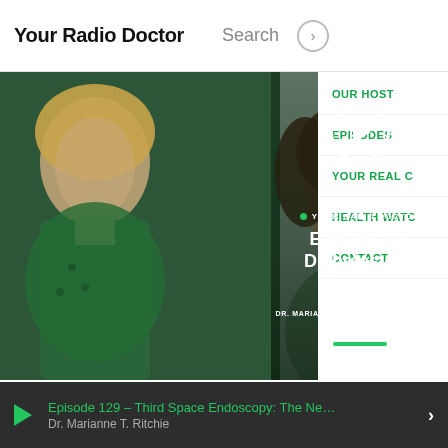Your Radio Doctor   Search
[Figure (screenshot): Website screenshot of Your Radio Doctor podcast page showing a featured episode card with a smiling female doctor, a play button circle, episode title 'Episode 92: Diabetes & O... Diseases', green dot label 'YOUR RADIO DOCTOR', byline 'DR. MARIANNE T. RITCHIE  NOVEMBER 8, 2021', and a navigation dropdown showing OUR HOST, EPISODES, YOUR REAL C..., HEALTH WATC..., CONTACT]
YOUR RADIO DOCTOR
Episode 92: Diabetes & O... Diseases
DR. MARIANNE T. RITCHIE   NOVEMBER 8, 2021
OUR HOST
EPISODES
YOUR REAL C
HEALTH WATC
CONTACT
Episode 129 – Third Space Endoscopy: The Ne…   Dr. Marianne T. Ritchie